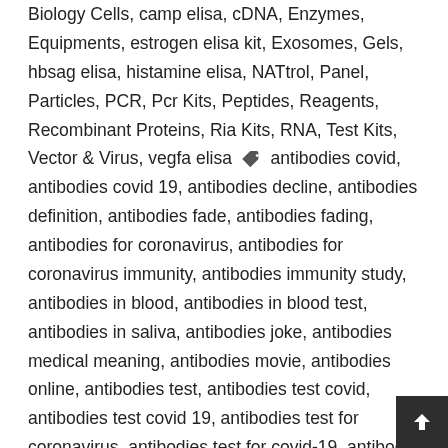Biology Cells, camp elisa, cDNA, Enzymes, Equipments, estrogen elisa kit, Exosomes, Gels, hbsag elisa, histamine elisa, NATtrol, Panel, Particles, PCR, Pcr Kits, Peptides, Reagents, Recombinant Proteins, Ria Kits, RNA, Test Kits, Vector & Virus, vegfa elisa [tag icon] antibodies covid, antibodies covid 19, antibodies decline, antibodies definition, antibodies fade, antibodies fading, antibodies for coronavirus, antibodies for coronavirus immunity, antibodies immunity study, antibodies in blood, antibodies in blood test, antibodies in saliva, antibodies joke, antibodies medical meaning, antibodies movie, antibodies online, antibodies test, antibodies test covid, antibodies test covid 19, antibodies test for coronavirus, antibodies test for covid-19, antibodies vs t cells, assay kits, biology cells and energy, biology cells and molecules, biology cells definition, virus cases by state, virus cases in dyer county tenn, virus cases in florida, virus cases in texas, virus cases in wv, virus count, virus deaths, virus deaths by state, virus in florida, virus in ohio, virus map,